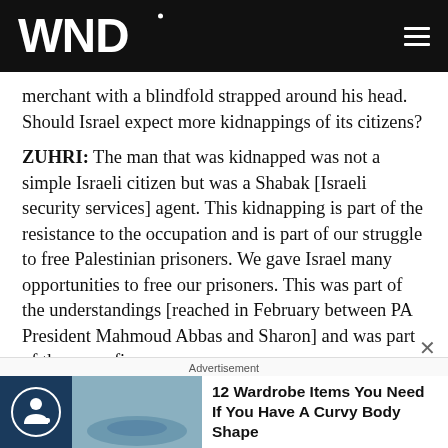WND
merchant with a blindfold strapped around his head. Should Israel expect more kidnappings of its citizens?
ZUHRI: The man that was kidnapped was not a simple Israeli citizen but was a Shabak [Israeli security services] agent. This kidnapping is part of the resistance to the occupation and is part of our struggle to free Palestinian prisoners. We gave Israel many opportunities to free our prisoners. This was part of the understandings [reached in February between PA President Mahmoud Abbas and Sharon] and was part of the cease fire.
Advertisement
12 Wardrobe Items You Need If You Have A Curvy Body Shape